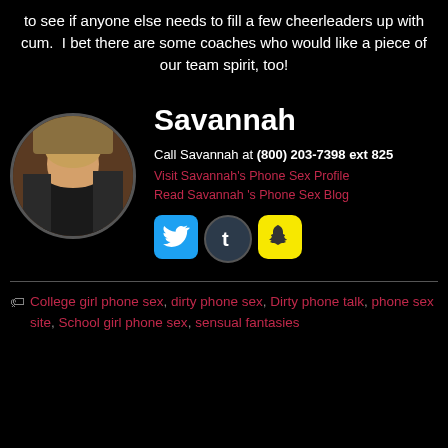to see if anyone else needs to fill a few cheerleaders up with cum.  I bet there are some coaches who would like a piece of our team spirit, too!
Savannah
Call Savannah at (800) 203-7398 ext 825
Visit Savannah's Phone Sex Profile
Read Savannah 's Phone Sex Blog
[Figure (illustration): Circular avatar photo of a blonde woman]
[Figure (logo): Twitter bird icon, blue background]
[Figure (logo): Tumblr t icon, dark circular background]
[Figure (logo): Snapchat ghost icon, yellow background]
College girl phone sex, dirty phone sex, Dirty phone talk, phone sex site, School girl phone sex, sensual fantasies